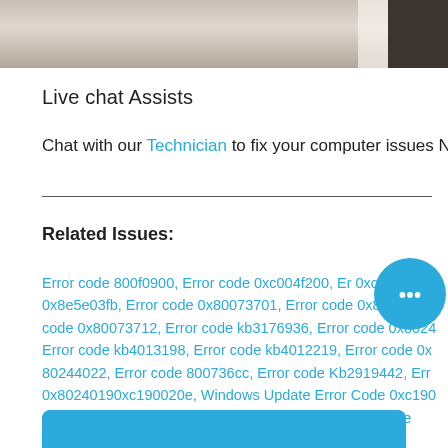[Figure (photo): Photo bar at top of page showing blurred background with dark and light areas]
Live chat Assists
Chat with our Technician to fix your computer issues Now!
Related Issues:
Error code 800f0900, Error code 0xc004f200, Error code 0xc 0x8e5e03fb, Error code 0x80073701, Error code 0x8e5e03fb, Error code 0x80073712, Error code kb3176936, Error code 0x8024 Error code kb4013198, Error code kb4012219, Error code 0x 80244022, Error code 800736cc, Error code Kb2919442, Error code 0x80240190xc190020e, Windows Update Error Code 0xc190 0xc190020e, fehlercode 0xc190020e, Errore 0xc190020e